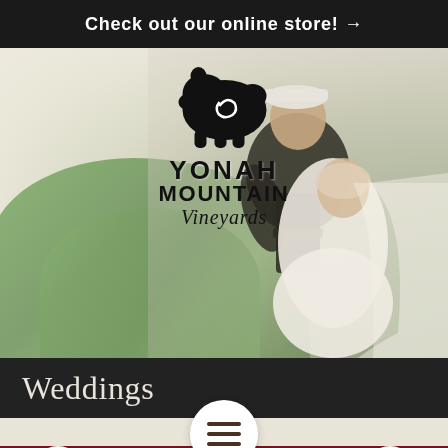Check out our online store! →
[Figure (photo): Hero image of a couple (groom in military uniform dipping bride in white dress and veil) in a vineyard with green foliage and misty background. Yonah Mountain Vineyards logo with bear silhouette overlaid on the left-center of the image.]
Weddings
[Figure (screenshot): Mobile website bottom navigation bar with a hamburger menu button (three horizontal lines in a white circle) centered and overlapping the cream and dark red bands, a phone icon button on the left, and a shopping cart icon button on the right.]